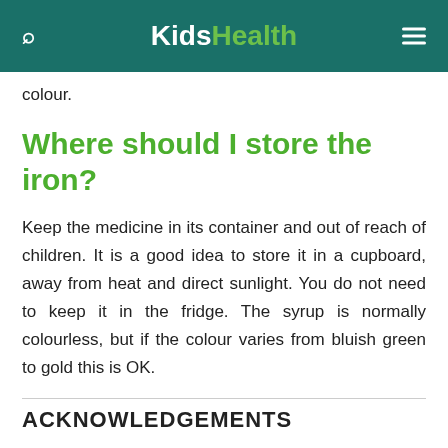KidsHealth
colour.
Where should I store the iron?
Keep the medicine in its container and out of reach of children. It is a good idea to store it in a cupboard, away from heat and direct sunlight. You do not need to keep it in the fridge. The syrup is normally colourless, but if the colour varies from bluish green to gold this is OK.
ACKNOWLEDGEMENTS